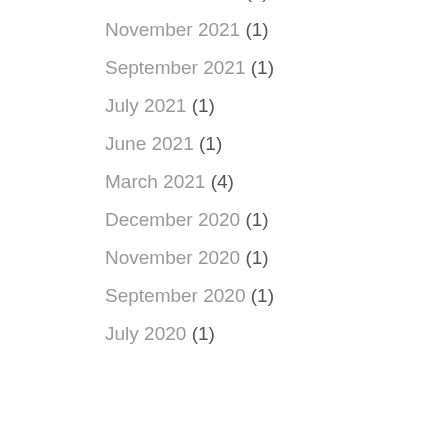December 2021 (1)
November 2021 (1)
September 2021 (1)
July 2021 (1)
June 2021 (1)
March 2021 (4)
December 2020 (1)
November 2020 (1)
September 2020 (1)
July 2020 (1)